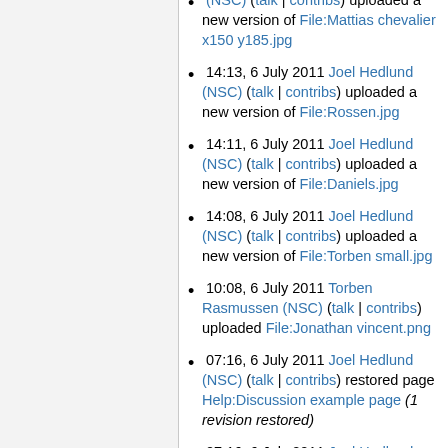(NSC) (talk | contribs) uploaded a new version of File:Mattias chevalier x150 y185.jpg
14:13, 6 July 2011 Joel Hedlund (NSC) (talk | contribs) uploaded a new version of File:Rossen.jpg
14:11, 6 July 2011 Joel Hedlund (NSC) (talk | contribs) uploaded a new version of File:Daniels.jpg
14:08, 6 July 2011 Joel Hedlund (NSC) (talk | contribs) uploaded a new version of File:Torben small.jpg
10:08, 6 July 2011 Torben Rasmussen (NSC) (talk | contribs) uploaded File:Jonathan vincent.png
07:16, 6 July 2011 Joel Hedlund (NSC) (talk | contribs) restored page Help:Discussion example page (1 revision restored)
07:16, 6 July 2011 Joel Hedlund